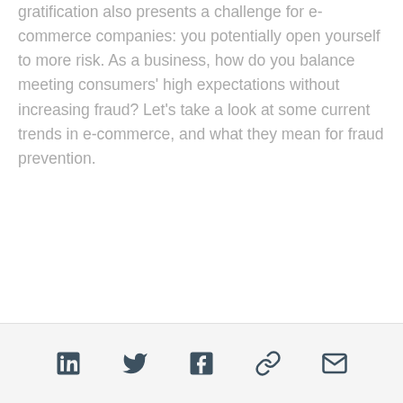gratification also presents a challenge for e-commerce companies: you potentially open yourself to more risk. As a business, how do you balance meeting consumers' high expectations without increasing fraud? Let's take a look at some current trends in e-commerce, and what they mean for fraud prevention.
[Social share icons: LinkedIn, Twitter, Facebook, Link, Email]